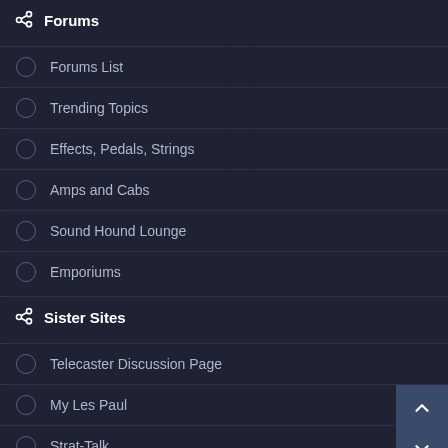Forums
Forums List
Trending Topics
Effects, Pedals, Strings
Amps and Cabs
Sound Hound Lounge
Emporiums
Sister Sites
Telecaster Discussion Page
My Les Paul
Strat-Talk
Seven String Forum